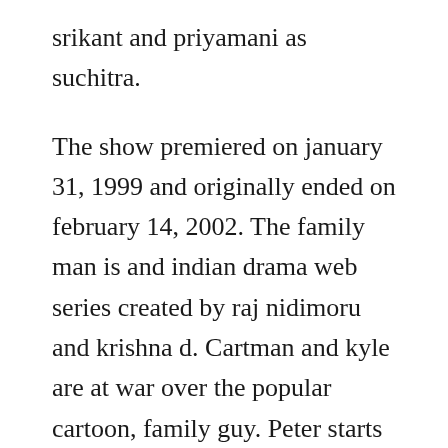srikant and priyamani as suchitra.
The show premiered on january 31, 1999 and originally ended on february 14, 2002. The family man is and indian drama web series created by raj nidimoru and krishna d. Cartman and kyle are at war over the popular cartoon, family guy. Peter starts betting on chris when he becomes a pitcher.
In a special meta episode of family guy, the network decides that its time to explore some unique ways to reboot the series. Cooking